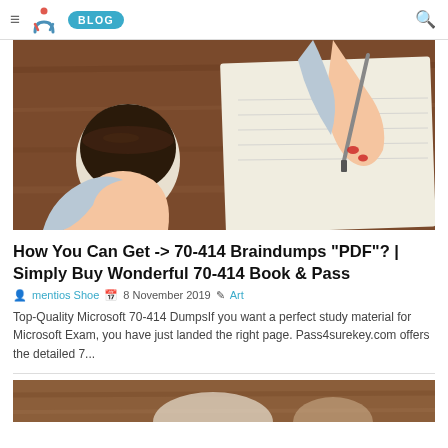≡  [logo]  BLOG   🔍
[Figure (photo): Overhead view of a person writing in a notebook with a pen, holding a cup of coffee, on a wooden desk. Person wearing light blue/grey sweater with red nail polish.]
How You Can Get -> 70-414 Braindumps "PDF"? | Simply Buy Wonderful 70-414 Book & Pass
mentios Shoe  8 November 2019  Art
Top-Quality Microsoft 70-414 DumpsIf you want a perfect study material for Microsoft Exam, you have just landed the right page. Pass4surekey.com offers the detailed 7...
[Figure (photo): Partial view of bottom article image — appears to show hands or objects on a surface, partially cut off.]